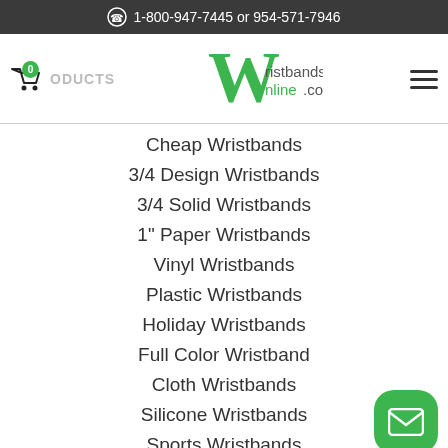1-800-947-7445 or 954-571-7946
[Figure (logo): WristbandsOnline.com logo with stylized W in green]
Cheap Wristbands
3/4 Design Wristbands
3/4 Solid Wristbands
1" Paper Wristbands
Vinyl Wristbands
Plastic Wristbands
Holiday Wristbands
Full Color Wristband
Cloth Wristbands
Silicone Wristbands
Sports Wristbands
Wristbands For Camps
School Wristbands
Tickets
Other Party Products